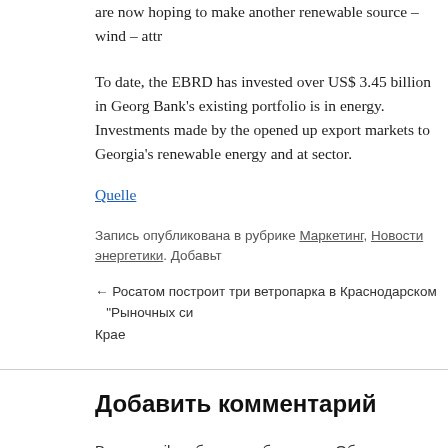are now hoping to make another renewable source – wind – attr
To date, the EBRD has invested over US$ 3.45 billion in Georg Bank's existing portfolio is in energy. Investments made by the opened up export markets to Georgia's renewable energy and at sector.
Quelle
Запись опубликована в рубрике Маркетинг, Новости энергетики. Добавьт
← Росатом построит три ветропарка в Краснодарском Крае   "Рыночных си
Добавить комментарий
Ваш e-mail не будет опубликован. Обязательные поля помеч
Комментарий